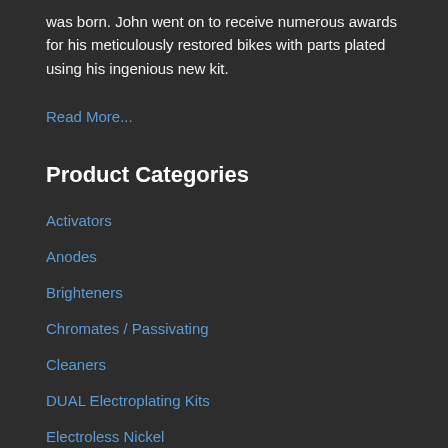was born. John went on to receive numerous awards for his meticulously restored bikes with parts plated using his ingenious new kit.
Read More...
Product Categories
Activators
Anodes
Brighteners
Chromates / Passivating
Cleaners
DUAL Electroplating Kits
Electroless Nickel
Electroplating Kits
Gif Vouchers
Parkerising / Steel Blackening
Plating Chemicals